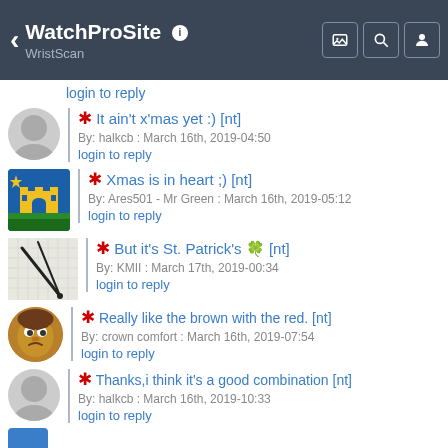WatchProSite - WristScan
login to reply
* It ain't x'mas yet :) [nt]
By: halkcb : March 16th, 2019-04:50
login to reply
* Xmas is in heart ;) [nt]
By: Ares501 - Mr Green : March 16th, 2019-05:12
login to reply
* But it's St. Patrick's 🍀 [nt]
By: KMII : March 17th, 2019-00:34
login to reply
* Really like the brown with the red. [nt]
By: crown comfort : March 16th, 2019-07:54
login to reply
* Thanks,i think it's a good combination [nt]
By: halkcb : March 16th, 2019-10:33
login to reply